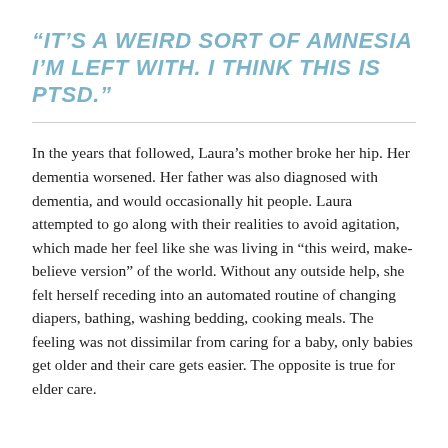“IT’S A WEIRD SORT OF AMNESIA I’M LEFT WITH. I THINK THIS IS PTSD.”
In the years that followed, Laura’s mother broke her hip. Her dementia worsened. Her father was also diagnosed with dementia, and would occasionally hit people. Laura attempted to go along with their realities to avoid agitation, which made her feel like she was living in “this weird, make-believe version” of the world. Without any outside help, she felt herself receding into an automated routine of changing diapers, bathing, washing bedding, cooking meals. The feeling was not dissimilar from caring for a baby, only babies get older and their care gets easier. The opposite is true for elder care.